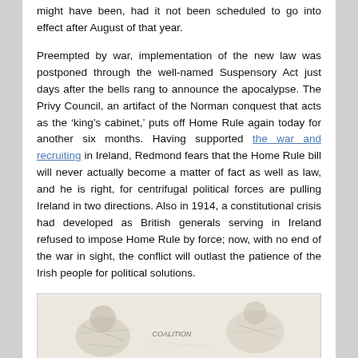might have been, had it not been scheduled to go into effect after August of that year.

Preempted by war, implementation of the new law was postponed through the well-named Suspensory Act just days after the bells rang to announce the apocalypse. The Privy Council, an artifact of the Norman conquest that acts as the ‘king’s cabinet,’ puts off Home Rule again today for another six months. Having supported the war and recruiting in Ireland, Redmond fears that the Home Rule bill will never actually become a matter of fact as well as law, and he is right, for centrifugal political forces are pulling Ireland in two directions. Also in 1914, a constitutional crisis had developed as British generals serving in Ireland refused to impose Home Rule by force; now, with no end of the war in sight, the conflict will outlast the patience of the Irish people for political solutions.
[Figure (illustration): A historical illustration or political cartoon, partially visible at the bottom of the page, showing sketched figures with text 'COALITION' visible.]